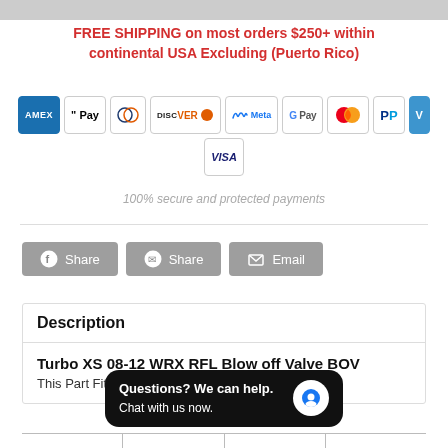FREE SHIPPING on most orders $250+ within continental USA Excluding (Puerto Rico)
[Figure (infographic): Payment method icons: AMEX, Apple Pay, Diners Club, Discover, Meta Pay, Google Pay, Mastercard, PayPal, Venmo, Visa]
100% secure and protected payments
Share  Share  Email (social share buttons)
Description
Turbo XS 08-12 WRX RFL Blow off Valve BOV
This Part Fit
Questions? We can help. Chat with us now.